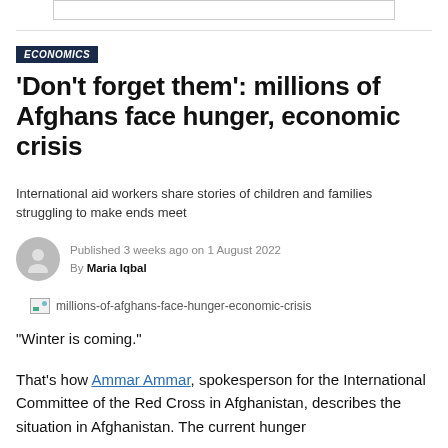[Figure (other): Top navigation bar element (partial, cropped)]
ECONOMICS
'Don't forget them': millions of Afghans face hunger, economic crisis
International aid workers share stories of children and families struggling to make ends meet
Published 3 weeks ago on 1 August 2022
By Maria Iqbal
[Figure (photo): millions-of-afghans-face-hunger-economic-crisis (broken image placeholder)]
"Winter is coming."
That's how Ammar Ammar, spokesperson for the International Committee of the Red Cross in Afghanistan, describes the situation in Afghanistan. The current hunger